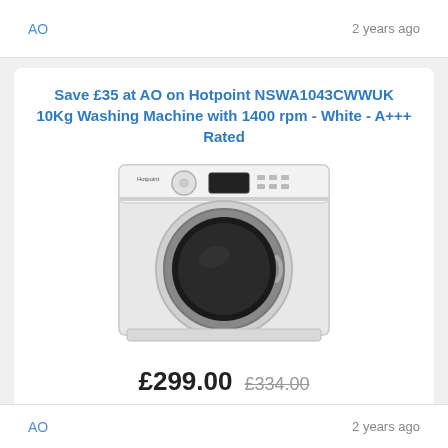AO   2 years ago
Save £35 at AO on Hotpoint NSWA1043CWWUK 10Kg Washing Machine with 1400 rpm - White - A+++ Rated
[Figure (photo): White front-loading Hotpoint washing machine with black door and control panel]
£299.00  £334.00
AO   2 years ago